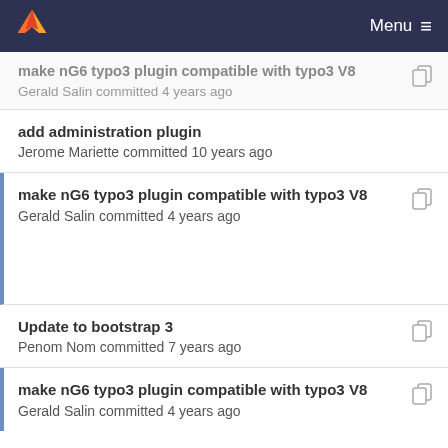Menu
make nG6 typo3 plugin compatible with typo3 V8
Gerald Salin committed 4 years ago
add administration plugin
Jerome Mariette committed 10 years ago
make nG6 typo3 plugin compatible with typo3 V8
Gerald Salin committed 4 years ago
Update to bootstrap 3
Penom Nom committed 7 years ago
make nG6 typo3 plugin compatible with typo3 V8
Gerald Salin committed 4 years ago